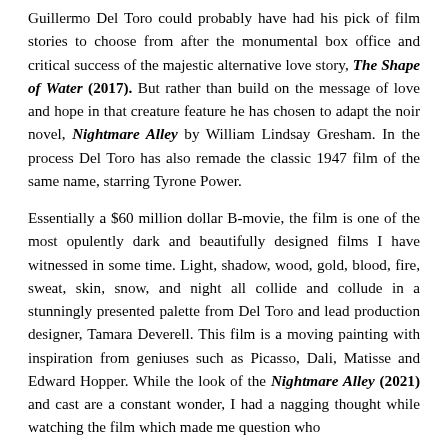Guillermo Del Toro could probably have had his pick of film stories to choose from after the monumental box office and critical success of the majestic alternative love story, The Shape of Water (2017). But rather than build on the message of love and hope in that creature feature he has chosen to adapt the noir novel, Nightmare Alley by William Lindsay Gresham. In the process Del Toro has also remade the classic 1947 film of the same name, starring Tyrone Power.
Essentially a $60 million dollar B-movie, the film is one of the most opulently dark and beautifully designed films I have witnessed in some time. Light, shadow, wood, gold, blood, fire, sweat, skin, snow, and night all collide and collude in a stunningly presented palette from Del Toro and lead production designer, Tamara Deverell. This film is a moving painting with inspiration from geniuses such as Picasso, Dali, Matisse and Edward Hopper. While the look of the Nightmare Alley (2021) and cast are a constant wonder, I had a nagging thought while watching the film which made me question who